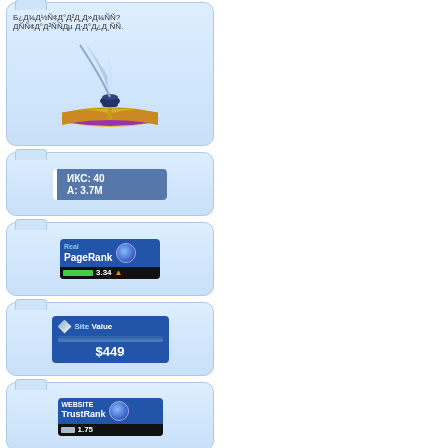[Figure (illustration): Card with corrupted Cyrillic text and an illustration of a quill pen in an inkwell resting on an open book]
[Figure (other): Badge showing ИКС: 40 and А: 3.7M in blue]
[Figure (other): Real PageRank badge showing score 3.34 with green bar]
[Figure (other): Site Value badge showing $449]
[Figure (other): Website TrustRank badge showing 1.75]